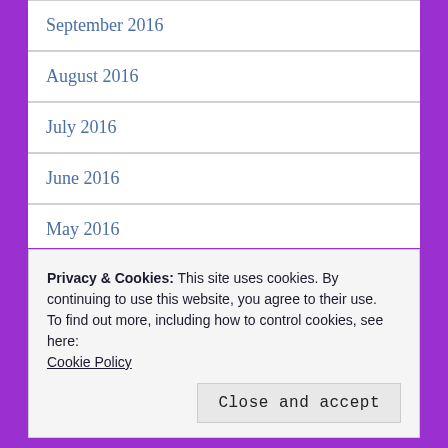September 2016
August 2016
July 2016
June 2016
May 2016
April 2016
March 2016
February 2016
Privacy & Cookies: This site uses cookies. By continuing to use this website, you agree to their use.
To find out more, including how to control cookies, see here:
Cookie Policy
Close and accept